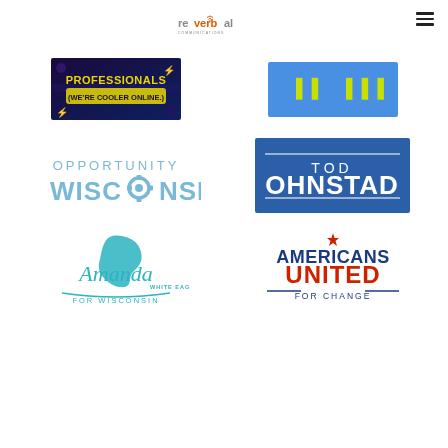reverbal COMMUNICATIONS
[Figure (logo): Professionals (We're Cooler Online.) — dark stylized banner with neon text]
[Figure (logo): Blue banner with partially visible logo marks]
[Figure (logo): Opportunity Wisconsin — teal/light blue text logo]
[Figure (logo): Tod Ohnstad — blue campaign logo with white text]
[Figure (logo): Amanda White Eagle For Wisconsin — teal logo with Wisconsin state shape]
[Figure (logo): Americans United For Change — red, white and blue logo]